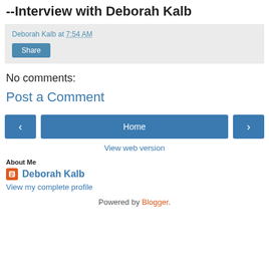--Interview with Deborah Kalb
Deborah Kalb at 7:54 AM
Share
No comments:
Post a Comment
‹  Home  ›
View web version
About Me
Deborah Kalb
View my complete profile
Powered by Blogger.